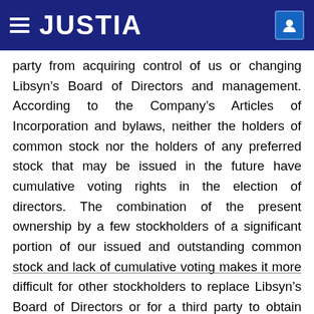JUSTIA
party from acquiring control of us or changing Libsyn’s Board of Directors and management. According to the Company’s Articles of Incorporation and bylaws, neither the holders of common stock nor the holders of any preferred stock that may be issued in the future have cumulative voting rights in the election of directors. The combination of the present ownership by a few stockholders of a significant portion of our issued and outstanding common stock and lack of cumulative voting makes it more difficult for other stockholders to replace Libsyn’s Board of Directors or for a third party to obtain control of the Company by replacing its Board of Directors.